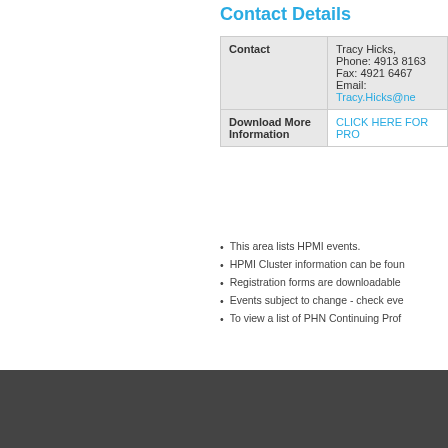Contact Details
|  |  |
| --- | --- |
| Contact | Tracy Hicks,
Phone: 4913 8163
Fax: 4921 6467
Email: Tracy.Hicks@ne... |
| Download More Information | CLICK HERE FOR PRO... |
This area lists HPMI events.
HPMI Cluster information can be foun...
Registration forms are downloadable...
Events subject to change - check eve...
To view a list of PHN Continuing Prof...